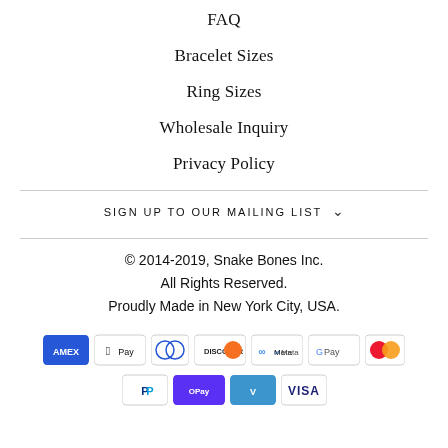FAQ
Bracelet Sizes
Ring Sizes
Wholesale Inquiry
Privacy Policy
SIGN UP TO OUR MAILING LIST
© 2014-2019, Snake Bones Inc. All Rights Reserved. Proudly Made in New York City, USA.
[Figure (other): Payment method icons: American Express, Apple Pay, Diners Club, Discover, Meta Pay, Google Pay, Mastercard, PayPal, Shop Pay, Venmo, Visa]